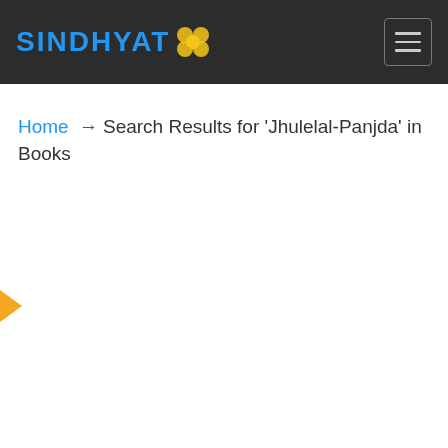SINDHYAT
Home → Search Results for 'Jhulelal-Panjda' in Books